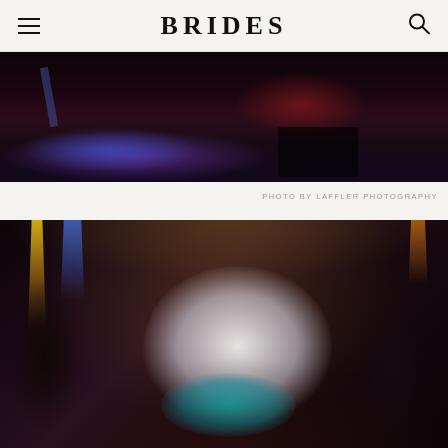BRIDES
[Figure (photo): Dark atmospheric wedding reception scene, shot from low angle showing guests' legs on a dance floor with purple and blue stage lighting illuminating the floor]
PHOTO BY LAFFLER PHOTOGRAPHY
[Figure (photo): Wedding reception dance floor scene with a bride in a white dress and teal petticoat holding up her skirt, wearing a top hat, surrounded by guests dancing. Yellow laser lights and blue spotlights illuminate the venue ceiling. A man in a patterned jacket watches from the left, and a man in a suit and top hat stands to the right.]